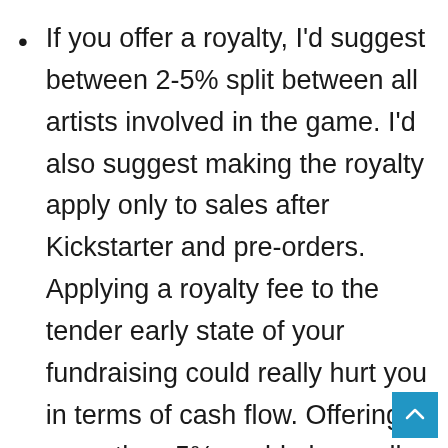If you offer a royalty, I'd suggest between 2-5% split between all artists involved in the game. I'd also suggest making the royalty apply only to sales after Kickstarter and pre-orders. Applying a royalty fee to the tender early state of your fundraising could really hurt you in terms of cash flow. Offering more than 5% could also really hurt you in the long-run because there are so many factors that go into getting a game published.